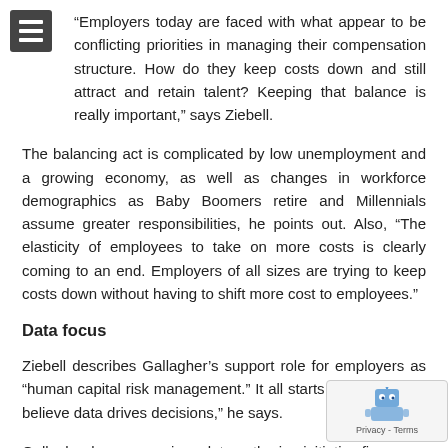“Employers today are faced with what appear to be conflicting priorities in managing their compensation structure. How do they keep costs down and still attract and retain talent? Keeping that balance is really important,” says Ziebell.
The balancing act is complicated by low unemployment and a growing economy, as well as changes in workforce demographics as Baby Boomers retire and Millennials assume greater responsibilities, he points out. Also, “The elasticity of employees to take on more costs is clearly coming to an end. Employers of all sizes are trying to keep costs down without having to shift more cost to employees.”
Data focus
Ziebell describes Gallagher’s support role for employers as “human capital risk management.” It all starts with data. “We believe data drives decisions,” he says.
Gallagher began a serious data gathering initiative five years ago when it performed the first of its annual Benefits Strategy & Benchmarking Surveys—a compilation of data from employers’ costs and objectives of their benefits programs and related HR practices. The 2017 survey is based on national data from 4,... organizations—both for-profit and nonprofit employers. It spans size